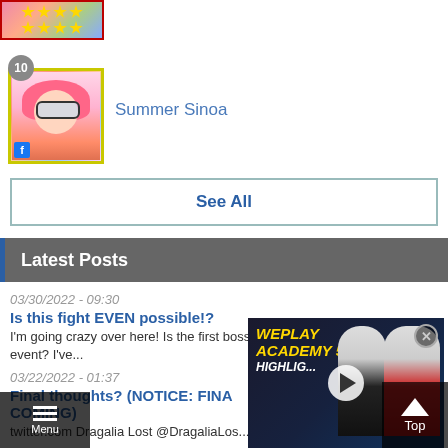[Figure (screenshot): Small avatar thumbnail with star rating icons at top of page]
10
[Figure (illustration): Summer Sinoa character avatar with pink hair and glasses, gold border, Facebook icon overlay]
Summer Sinoa
See All
Latest Posts
03/30/2022 - 09:30
Is this fight EVEN possible!?
I'm going crazy over here! Is the first boss even possible in this new event? I've...
03/22/2022 - 01:37
Final thoughts? (NOTICE: FINAL COMING)
twitter.com Dragalia Lost @DragaliaLos...
[Figure (screenshot): WePlay Academy 5 Highlights video ad overlay with two people and play button]
Menu
Top